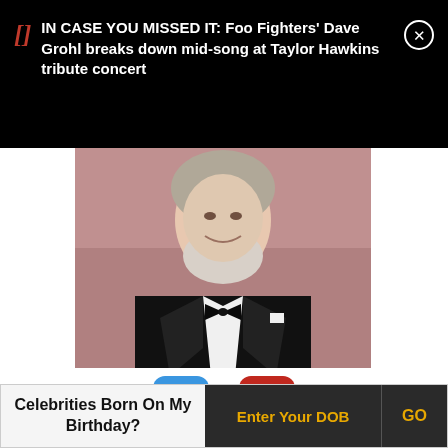IN CASE YOU MISSED IT: Foo Fighters' Dave Grohl breaks down mid-song at Taylor Hawkins tribute concert
[Figure (photo): Man in black tuxedo with bow tie, smiling, white beard, photographed at an event]
119 upvotes, 21 downvotes
Celebrities Born On My Birthday?
Enter Your DOB | GO